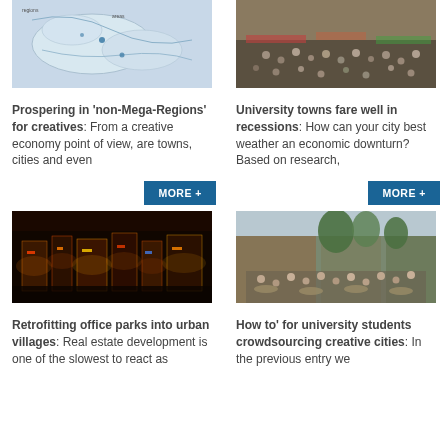[Figure (map): Map image showing geographic regions, partial crop at top]
[Figure (photo): Aerial view of crowded outdoor area, partial crop at top]
Prospering in 'non-Mega-Regions' for creatives: From a creative economy point of view, are towns, cities and even
University towns fare well in recessions: How can your city best weather an economic downturn? Based on research,
MORE +
MORE +
[Figure (photo): Night time photo of colorful urban entertainment district]
[Figure (photo): Outdoor pedestrian street crowded with people at cafe tables]
Retrofitting office parks into urban villages: Real estate development is one of the slowest to react as
How to' for university students crowdsourcing creative cities: In the previous entry we